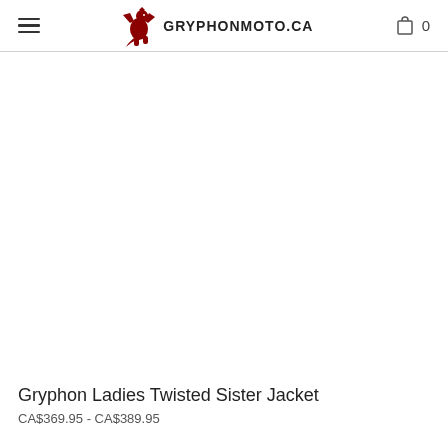GRYPHONMOTO.CA
[Figure (photo): Product image area, blank/white for Gryphon Ladies Twisted Sister Jacket]
Gryphon Ladies Twisted Sister Jacket
CA$369.95 - CA$389.95